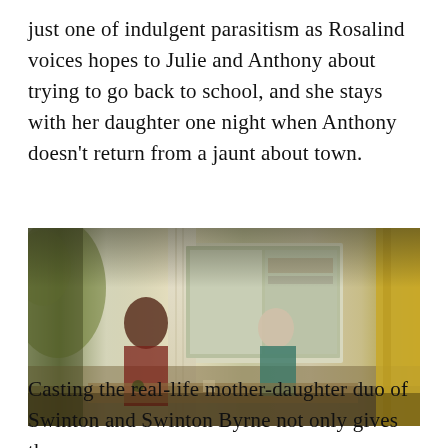just one of indulgent parasitism as Rosalind voices hopes to Julie and Anthony about trying to go back to school, and she stays with her daughter one night when Anthony doesn't return from a jaunt about town.
[Figure (photo): Two people sitting at a table in a warmly lit room. One person faces the other across a table; a large window with curtains is visible in the background. Bokeh and soft focus give a cinematic look.]
Casting the real-life mother-daughter duo of Swinton and Swinton Byrne not only gives the